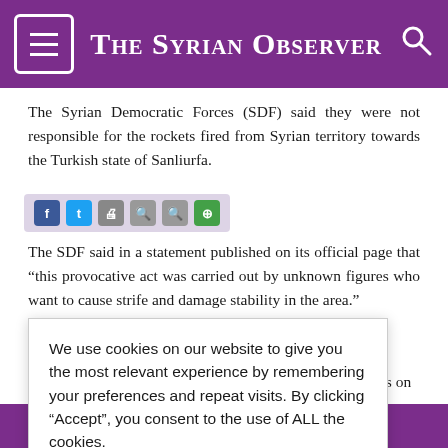The Syrian Observer
The Syrian Democratic Forces (SDF) said they were not responsible for the rockets fired from Syrian territory towards the Turkish state of Sanliurfa.
The SDF said in a statement published on its official page that “this provocative act was carried out by unknown figures who want to cause strife and damage stability in the area.”
The Turkish Defense Ministry said that Sanliurfa, which is on [partial - obscured by cookie modal] fired from Syrian [partial] f them seriously, [partial] arby Ceylanpinar
[partial] by striking seven [partial] ons, according to [partial] out specifying the
We use cookies on our website to give you the most relevant experience by remembering your preferences and repeat visits. By clicking “Accept”, you consent to the use of ALL the cookies. Do not sell my personal information.
[partial] atement that his forces and its security agencies were carrying out the